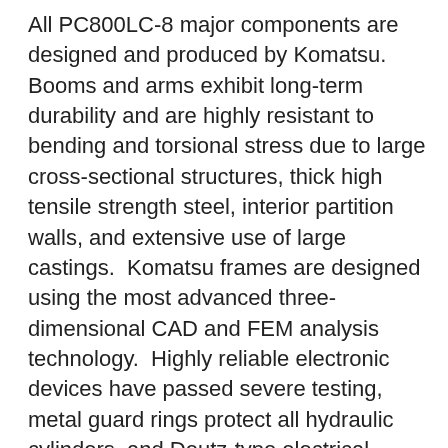All PC800LC-8 major components are designed and produced by Komatsu. Booms and arms exhibit long-term durability and are highly resistant to bending and torsional stress due to large cross-sectional structures, thick high tensile strength steel, interior partition walls, and extensive use of large castings. Komatsu frames are designed using the most advanced three-dimensional CAD and FEM analysis technology. Highly reliable electronic devices have passed severe testing, metal guard rings protect all hydraulic cylinders, and Deutz-type electrical connectors are completely sealed against dirt and moisture. Hydraulic hoses are equipped with O-ring seals versus conventional taper seals to provide extended leak-free life. The PC800LC-8 also has the most extensive filtration system available with standard in-line high pressure filters in the